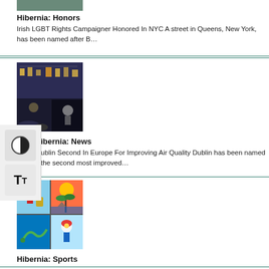[Figure (photo): Partial image at top of page (cut off)]
Hibernia: Honors
Irish LGBT Rights Campaigner Honored In NYC A street in Queens, New York, has been named after B…
[Figure (photo): Collage of nighttime city buildings and crowd scenes]
ibernia: News
ublin Second In Europe For Improving Air Quality Dublin has been named the second most improved…
[Figure (photo): Collage of sports and travel images including golfer, tropical scene, boat, and cyclist]
Hibernia: Sports
Leona Maguire Is First Irish Golfer To Win The LPGA Leona Maguire has made history as the&nb…